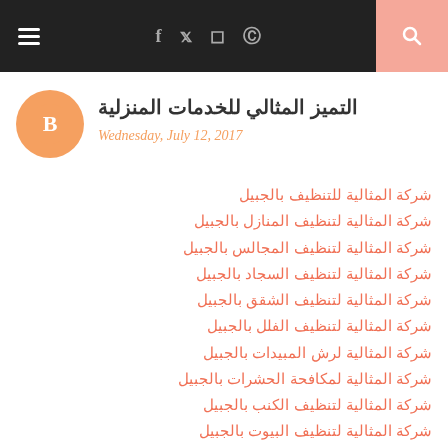Navigation bar with hamburger menu, social icons (f, t, instagram, pinterest), and search button
التميز المثالي للخدمات المنزلية
Wednesday, July 12, 2017
شركة المثالية للتنظيف بالجبيل
شركة المثالية لتنظيف المنازل بالجبيل
شركة المثالية لتنظيف المجالس بالجبيل
شركة المثالية لتنظيف السجاد بالجبيل
شركة المثالية لتنظيف الشقق بالجبيل
شركة المثالية لتنظيف الفلل بالجبيل
شركة المثالية لرش المبيدات بالجبيل
شركة المثالية لمكافحة الحشرات بالجبيل
شركة المثالية لتنظيف الكنب بالجبيل
شركة المثالية لتنظيف البيوت بالجبيل